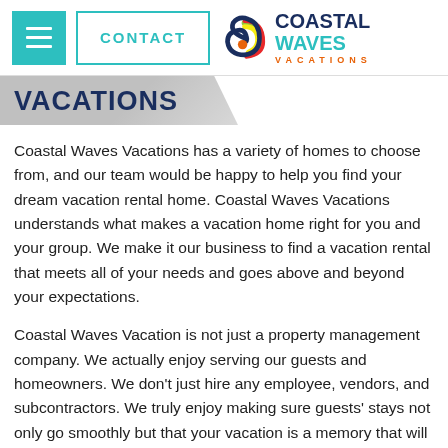[Figure (logo): Coastal Waves Vacations logo with swirling wave graphic in blue, green, red, and yellow, with text COASTAL WAVES in dark blue and teal, and VACATIONS in orange below]
VACATIONS
Coastal Waves Vacations has a variety of homes to choose from, and our team would be happy to help you find your dream vacation rental home. Coastal Waves Vacations understands what makes a vacation home right for you and your group. We make it our business to find a vacation rental that meets all of your needs and goes above and beyond your expectations.
Coastal Waves Vacation is not just a property management company. We actually enjoy serving our guests and homeowners. We don't just hire any employee, vendors, and subcontractors. We truly enjoy making sure guests' stays not only go smoothly but that your vacation is a memory that will